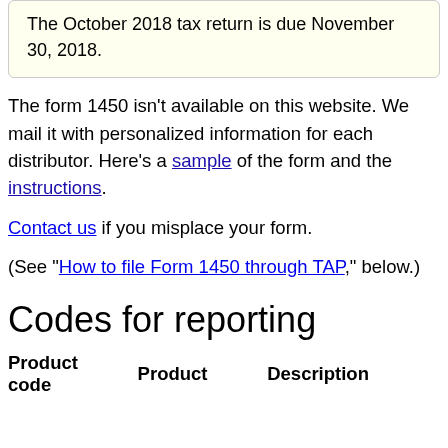The October 2018 tax return is due November 30, 2018.
The form 1450 isn't available on this website. We mail it with personalized information for each distributor. Here's a sample of the form and the instructions.
Contact us if you misplace your form.
(See "How to file Form 1450 through TAP," below.)
Codes for reporting
| Product code | Product | Description |
| --- | --- | --- |